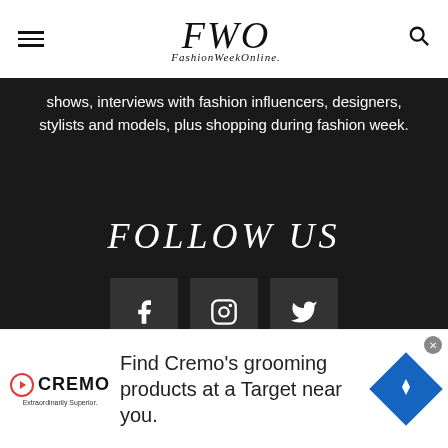FWO FashionWeekOnline
shows, interviews with fashion influencers, designers, stylists and models, plus shopping during fashion week.
FOLLOW US
[Figure (infographic): Social media icons: Facebook (f), Instagram (camera), Twitter (bird) in dark grey boxes]
[Figure (infographic): Advertisement banner: 31 October - 2 November 2022, CBRNe World, Open button]
[Figure (infographic): Advertisement banner: Find Cremo's grooming products at a Target near you. Cremo logo with play button, blue navigation diamond icon.]